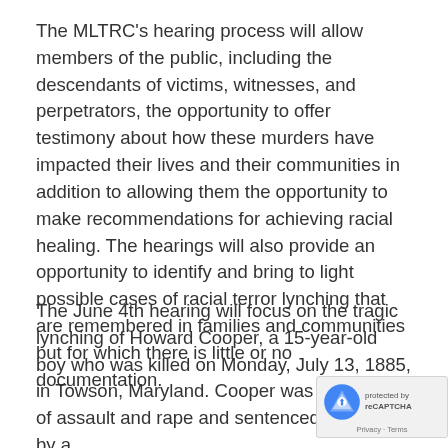The MLTRC's hearing process will allow members of the public, including the descendants of victims, witnesses, and perpetrators, the opportunity to offer testimony about how these murders have impacted their lives and their communities in addition to allowing them the opportunity to make recommendations for achieving racial healing. The hearings will also provide an opportunity to identify and bring to light possible cases of racial terror lynching that are remembered in families and communities but for which there is little or no documentation.
The June 4th hearing will focus on the tragic lynching of Howard Cooper, a 15-year-old boy who was killed on Monday, July 13, 1885, in Towson, Maryland. Cooper was convicted of assault and rape and sentenced to death by a